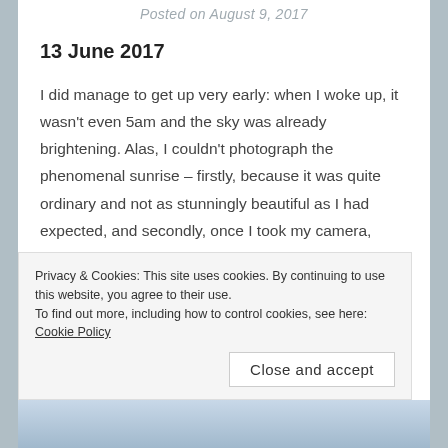Posted on August 9, 2017
13 June 2017
I did manage to get up very early: when I woke up, it wasn't even 5am and the sky was already brightening. Alas, I couldn't photograph the phenomenal sunrise – firstly, because it was quite ordinary and not as stunningly beautiful as I had expected, and secondly, once I took my camera, which had stayed the whole night in an air-conditioned cabin, out in such a humid environment, it immediately got water condensed on it
Privacy & Cookies: This site uses cookies. By continuing to use this website, you agree to their use.
To find out more, including how to control cookies, see here: Cookie Policy
Close and accept